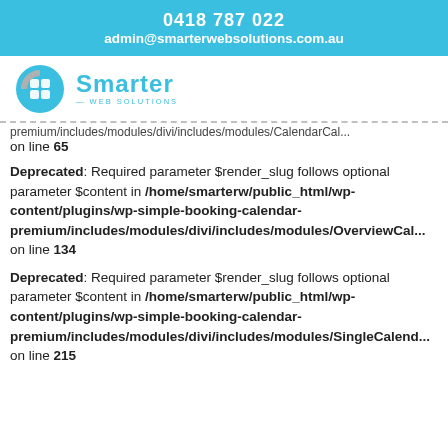0418 787 022
admin@smarterwebsolutions.com.au
[Figure (logo): Smarter Web Solutions logo with puzzle-piece head icon and teal text]
premium/includes/modules/divi/includes/modules/CalendarCal...
on line 65
Deprecated: Required parameter $render_slug follows optional parameter $content in /home/smarterw/public_html/wp-content/plugins/wp-simple-booking-calendar-premium/includes/modules/divi/includes/modules/OverviewCal... on line 134
Deprecated: Required parameter $render_slug follows optional parameter $content in /home/smarterw/public_html/wp-content/plugins/wp-simple-booking-calendar-premium/includes/modules/divi/includes/modules/SingleCalend... on line 215